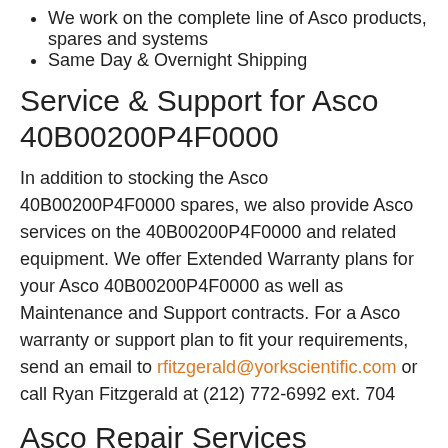We work on the complete line of Asco products, spares and systems
Same Day & Overnight Shipping
Service & Support for Asco 40B00200P4F0000
In addition to stocking the Asco 40B00200P4F0000 spares, we also provide Asco services on the 40B00200P4F0000 and related equipment. We offer Extended Warranty plans for your Asco 40B00200P4F0000 as well as Maintenance and Support contracts. For a Asco warranty or support plan to fit your requirements, send an email to rfitzgerald@yorkscientific.com or call Ryan Fitzgerald at (212) 772-6992 ext. 704
Asco Repair Services
We service and repair Asco 40B00200P4F0000 and related systems and components, including severely damaged and defective units. Our services for the Asco 40B00200P4F0000 include diagnostic evaluation, troubleshooting, component and board level repair, as well